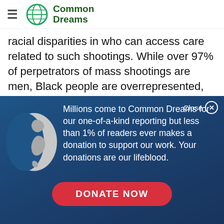Common Dreams
racial disparities in who can access care related to such shootings. While over 97% of perpetrators of mass shootings are men, Black people are overrepresented, accounting for just over 13% of the
Close
Millions come to Common Dreams for our one-of-a-kind reporting but less than 1% of readers ever makes a donation to support our work. Your donations are our lifeblood.
DONATE NOW